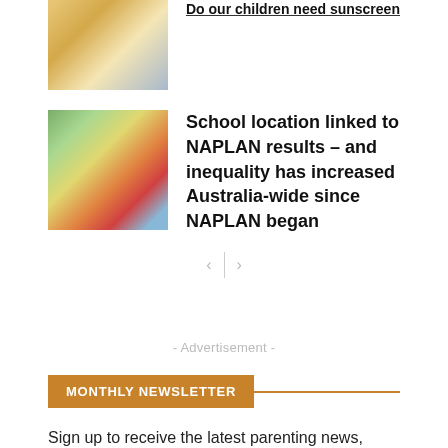[Figure (photo): Person holding a glowing light bulb (partially cropped at top)]
[Figure (photo): Children in a classroom with green bookshelves]
School location linked to NAPLAN results – and inequality has increased Australia-wide since NAPLAN began
- Advertisement -
MONTHLY NEWSLETTER
Sign up to receive the latest parenting news, competitions,